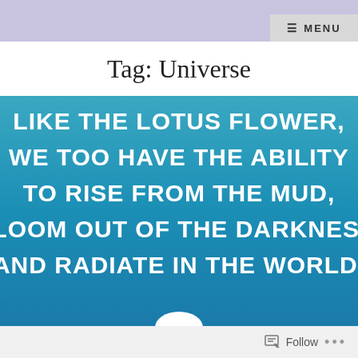≡ MENU
Tag: Universe
[Figure (illustration): Teal-to-blue gradient background with white text quote: 'Like the lotus flower, we too have the ability to rise from the mud, bloom out of the darkness, and radiate in the world.']
Follow ...